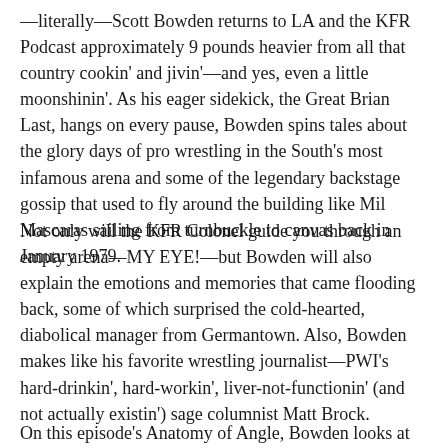—literally—Scott Bowden returns to LA and the KFR Podcast approximately 9 pounds heavier from all that country cookin' and jivin'—and yes, even a little moonshinin'. As his eager sidekick, the Great Brian Last, hangs on every pause, Bowden spins tales about the glory days of pro wrestling in the South's most infamous arena and some of the legendary backstage gossip that used to fly around the building like Mil Mascaras sailing from turnbuckle to canvas back in January 1979.
Not only will the KFR Colonel guide you through an empty arena—MY EYE!—but Bowden will also explain the emotions and memories that came flooding back, some of which surprised the cold-hearted, diabolical manager from Germantown. Also, Bowden makes like his favorite wrestling journalist—PWI's hard-drinkin', hard-workin', liver-not-functionin' (and not actually existin') sage columnist Matt Brock.
On this episode's Anatomy of Angle, Bowden looks at one of